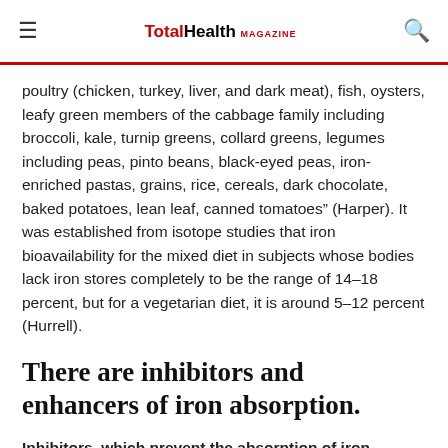TotalHealth MAGAZINE
poultry (chicken, turkey, liver, and dark meat), fish, oysters, leafy green members of the cabbage family including broccoli, kale, turnip greens, collard greens, legumes including peas, pinto beans, black-eyed peas, iron-enriched pastas, grains, rice, cereals, dark chocolate, baked potatoes, lean leaf, canned tomatoes” (Harper). It was established from isotope studies that iron bioavailability for the mixed diet in subjects whose bodies lack iron stores completely to be the range of 14–18 percent, but for a vegetarian diet, it is around 5–12 percent (Hurrell).
There are inhibitors and enhancers of iron absorption.
Inhibitors, which prevent the absorption of iron, include: “Phytate (in plant-based diets), polyphenols (in